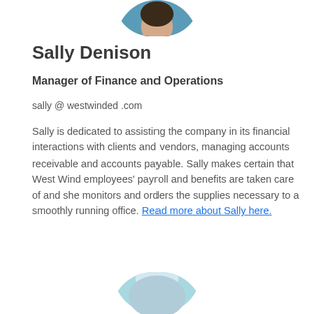[Figure (photo): Partial photo of Sally Denison, cropped at top of page showing head and shoulders]
Sally Denison
Manager of Finance and Operations
sally @ westwinded .com
Sally is dedicated to assisting the company in its financial interactions with clients and vendors, managing accounts receivable and accounts payable. Sally makes certain that West Wind employees' payroll and benefits are taken care of and she monitors and orders the supplies necessary to a smoothly running office. Read more about Sally here.
[Figure (photo): Partial photo at bottom of page, cropped showing another person]